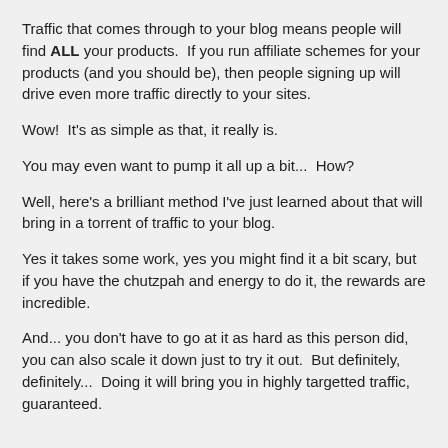Traffic that comes through to your blog means people will find ALL your products.  If you run affiliate schemes for your products (and you should be), then people signing up will drive even more traffic directly to your sites.
Wow!  It's as simple as that, it really is.
You may even want to pump it all up a bit...  How?
Well, here's a brilliant method I've just learned about that will bring in a torrent of traffic to your blog.
Yes it takes some work, yes you might find it a bit scary, but if you have the chutzpah and energy to do it, the rewards are incredible.
And... you don't have to go at it as hard as this person did, you can also scale it down just to try it out.  But definitely, definitely...  Doing it will bring you in highly targetted traffic, guaranteed.